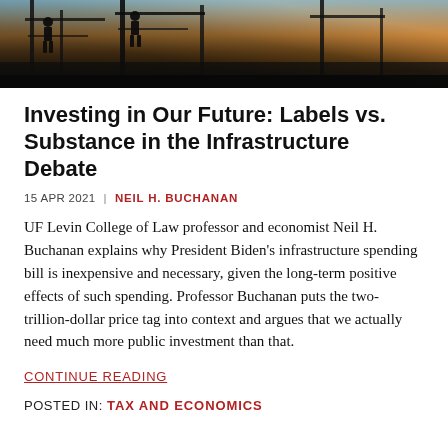[Figure (photo): Construction workers silhouetted against a warm orange and blue sky on scaffolding or structural framework]
Investing in Our Future: Labels vs. Substance in the Infrastructure Debate
15 APR 2021  |  NEIL H. BUCHANAN
UF Levin College of Law professor and economist Neil H. Buchanan explains why President Biden's infrastructure spending bill is inexpensive and necessary, given the long-term positive effects of such spending. Professor Buchanan puts the two-trillion-dollar price tag into context and argues that we actually need much more public investment than that.
CONTINUE READING
POSTED IN: TAX AND ECONOMICS